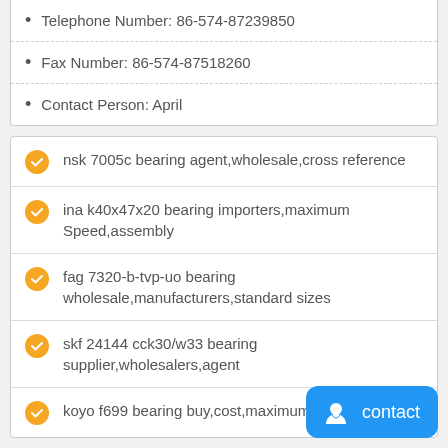Telephone Number: 86-574-87239850
Fax Number: 86-574-87518260
Contact Person: April
nsk 7005c bearing agent,wholesale,cross reference
ina k40x47x20 bearing importers,maximum Speed,assembly
fag 7320-b-tvp-uo bearing wholesale,manufacturers,standard sizes
skf 24144 cck30/w33 bearing supplier,wholesalers,agent
koyo f699 bearing buy,cost,maximum Speed